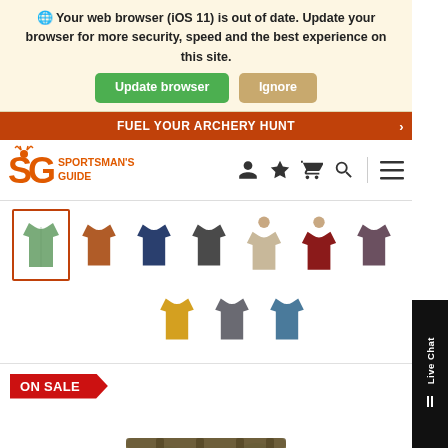Your web browser (iOS 11) is out of date. Update your browser for more security, speed and the best experience on this site.
Update browser   Ignore
FUEL YOUR ARCHERY HUNT
[Figure (logo): Sportsman's Guide logo with SG orange letters and deer icon, with text SPORTSMAN'S GUIDE]
[Figure (screenshot): Navigation icons: user, star, cart, search, hamburger menu]
[Figure (photo): Product color swatches showing shirts in green (selected), orange, navy, dark gray, tan, red, brown/purple in row 1; yellow, gray, teal in row 2]
ON SALE
[Figure (photo): Camouflage pants product image partially visible at bottom]